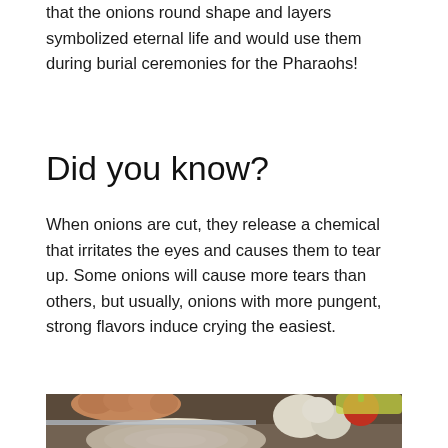that the onions round shape and layers symbolized eternal life and would use them during burial ceremonies for the Pharaohs!
Did you know?
When onions are cut, they release a chemical that irritates the eyes and causes them to tear up. Some onions will cause more tears than others, but usually, onions with more pungent, strong flavors induce crying the easiest.
[Figure (photo): Close-up photo of hands cutting an onion on a cutting board, with garlic bulbs and a tomato visible in the background]